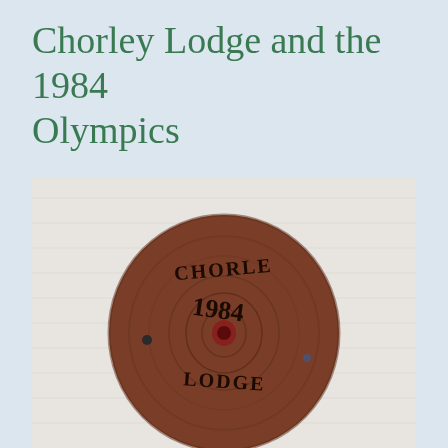Chorley Lodge and the 1984 Olympics
[Figure (photo): A photograph of a round wooden disc or token with text burned or carved into it reading 'CHORLEY 1984 LODGE', placed against a white textured wall background.]